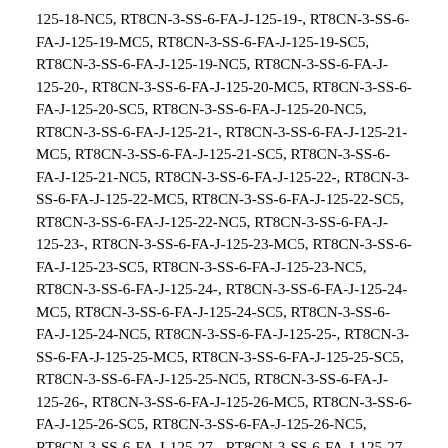125-18-NC5, RT8CN-3-SS-6-FA-J-125-19-, RT8CN-3-SS-6-FA-J-125-19-MC5, RT8CN-3-SS-6-FA-J-125-19-SC5, RT8CN-3-SS-6-FA-J-125-19-NC5, RT8CN-3-SS-6-FA-J-125-20-, RT8CN-3-SS-6-FA-J-125-20-MC5, RT8CN-3-SS-6-FA-J-125-20-SC5, RT8CN-3-SS-6-FA-J-125-20-NC5, RT8CN-3-SS-6-FA-J-125-21-, RT8CN-3-SS-6-FA-J-125-21-MC5, RT8CN-3-SS-6-FA-J-125-21-SC5, RT8CN-3-SS-6-FA-J-125-21-NC5, RT8CN-3-SS-6-FA-J-125-22-, RT8CN-3-SS-6-FA-J-125-22-MC5, RT8CN-3-SS-6-FA-J-125-22-SC5, RT8CN-3-SS-6-FA-J-125-22-NC5, RT8CN-3-SS-6-FA-J-125-23-, RT8CN-3-SS-6-FA-J-125-23-MC5, RT8CN-3-SS-6-FA-J-125-23-SC5, RT8CN-3-SS-6-FA-J-125-23-NC5, RT8CN-3-SS-6-FA-J-125-24-, RT8CN-3-SS-6-FA-J-125-24-MC5, RT8CN-3-SS-6-FA-J-125-24-SC5, RT8CN-3-SS-6-FA-J-125-24-NC5, RT8CN-3-SS-6-FA-J-125-25-, RT8CN-3-SS-6-FA-J-125-25-MC5, RT8CN-3-SS-6-FA-J-125-25-SC5, RT8CN-3-SS-6-FA-J-125-25-NC5, RT8CN-3-SS-6-FA-J-125-26-, RT8CN-3-SS-6-FA-J-125-26-MC5, RT8CN-3-SS-6-FA-J-125-26-SC5, RT8CN-3-SS-6-FA-J-125-26-NC5, RT8CN-3-SS-6-FA-J-125-27-, RT8CN-3-SS-6-FA-J-125-27-MC5, RT8CN-3-SS-6-FA-J-125-27-SC5, RT8CN-3-SS-6-FA-J-125-27-NC5, RT8CN-3-SS-6-FA-J-125-28-, RT8CN-3-SS-6-FA-J-125-28-MC5, RT8CN-3-SS-6-FA-J-125-28-SC5, RT8CN-3-SS-6-FA-J-125-28-NC5, RT8CN-3-SS-6-FA-J-125-29-, RT8CN-3-SS-6-FA-J-125-29-MC5, RT8CN-3-SS-6-FA-J-125-29-SC5, RT8CN-3-SS-6-FA-J-125-29-NC5,